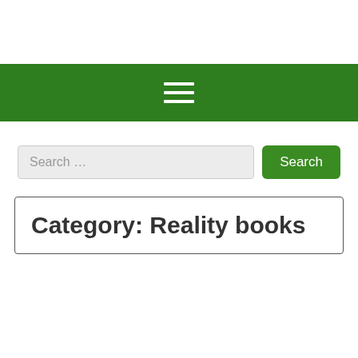☰ navigation menu
Search ...
Category: Reality books